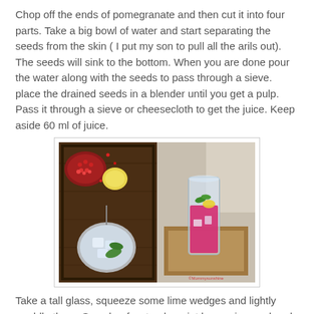Chop off the ends of pomegranate and then cut it into four parts. Take a big bowl of water and start separating the seeds from the skin ( I put my son to pull all the arils out). The seeds will sink to the bottom. When you are done pour the water along with the seeds to pass through a sieve. place the drained seeds in a blender until you get a pulp. Pass it through a sieve or cheesecloth to get the juice. Keep aside 60 ml of juice.
[Figure (photo): Two side-by-side food photos: left shows a dark wooden tray with a halved pomegranate, lemons, and a blender with ice; right shows a tall glass filled with pink/magenta pomegranate drink on a wooden tray with a lemon wedge garnish.]
Take a tall glass, squeeze some lime wedges and lightly muddle them. Smash a few tender mint leaves in your hands by clapping them together and twisting. This brings out the